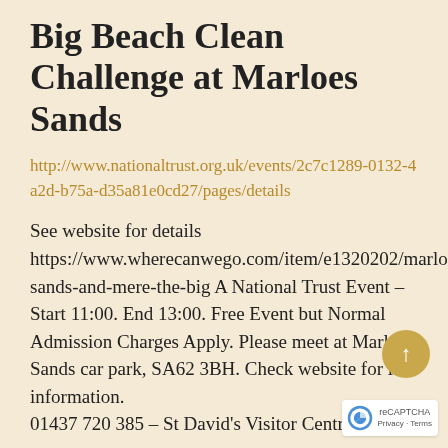Big Beach Clean Challenge at Marloes Sands
http://www.nationaltrust.org.uk/events/2c7c1289-0132-4a2d-b75a-d35a81e0cd27/pages/details
See website for details https://www.wherecanwego.com/item/e1320202/marloes-sands-and-mere-the-big A National Trust Event – Start 11:00. End 13:00. Free Event but Normal Admission Charges Apply. Please meet at Marloes Sands car park, SA62 3BH. Check website for late information. 01437 720 385 – St David's Visitor Centre and